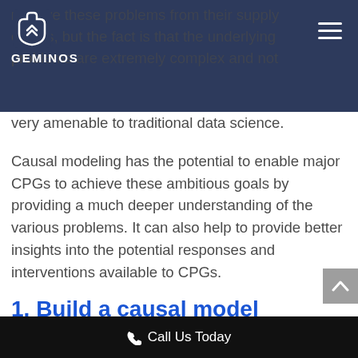GEMINOS (navigation bar with logo)
remove these problems from their supply chains, but the fact is that the underlying problems are extremely complex and not very amenable to traditional data science.
Causal modeling has the potential to enable major CPGs to achieve these ambitious goals by providing a much deeper understanding of the various problems. It can also help to provide better insights into the potential responses and interventions available to CPGs.
1. Build a causal model
Call Us Today